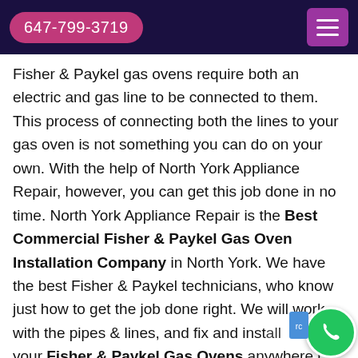647-799-3719
Fisher & Paykel gas ovens require both an electric and gas line to be connected to them. This process of connecting both the lines to your gas oven is not something you can do on your own. With the help of North York Appliance Repair, however, you can get this job done in no time. North York Appliance Repair is the Best Commercial Fisher & Paykel Gas Oven Installation Company in North York. We have the best Fisher & Paykel technicians, who know just how to get the job done right. We will work with the pipes & lines, and fix and install your Fisher & Paykel Gas Ovens anywhere i…